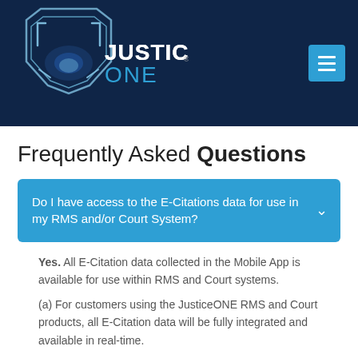[Figure (logo): JusticeONE logo with shield icon and navigation menu button on dark navy background]
Frequently Asked Questions
Do I have access to the E-Citations data for use in my RMS and/or Court System?
Yes. All E-Citation data collected in the Mobile App is available for use within RMS and Court systems.
(a) For customers using the JusticeONE RMS and Court products, all E-Citation data will be fully integrated and available in real-time.